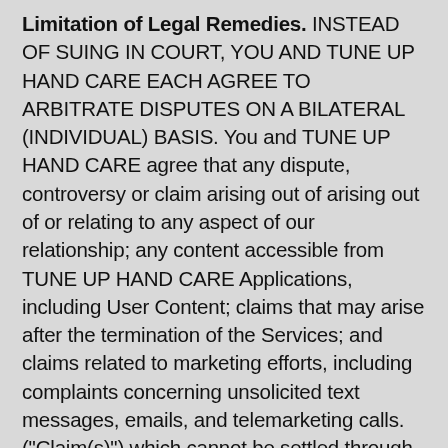Limitation of Legal Remedies. INSTEAD OF SUING IN COURT, YOU AND TUNE UP HAND CARE EACH AGREE TO ARBITRATE DISPUTES ON A BILATERAL (INDIVIDUAL) BASIS. You and TUNE UP HAND CARE agree that any dispute, controversy or claim arising out of arising out of or relating to any aspect of our relationship; any content accessible from TUNE UP HAND CARE Applications, including User Content; claims that may arise after the termination of the Services; and claims related to marketing efforts, including complaints concerning unsolicited text messages, emails, and telemarketing calls. ("Claim(s)") which cannot be settled through the customer service department refunding your payments in full, shall be resolved by one arbitrator through binding arbitration. This agreement to arbitrate is intended to be broadly interpreted. It includes Claims based in contract, tort, statute, fraud, misrepresentation or any other legal